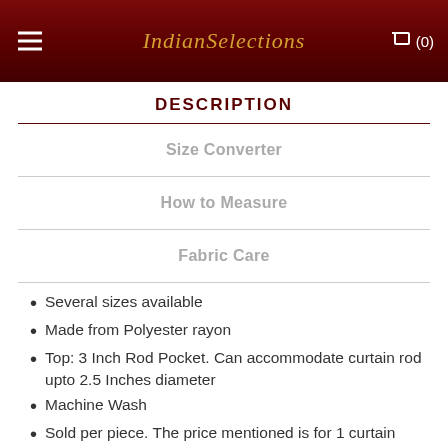Indian Selections
DESCRIPTION
Size Converter
How to Measure
Fabric Care
Several sizes available
Made from Polyester rayon
Top: 3 Inch Rod Pocket. Can accommodate curtain rod upto 2.5 Inches diameter
Machine Wash
Sold per piece. The price mentioned is for 1 curtain